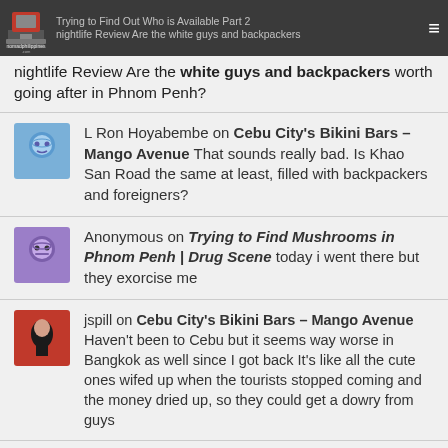nomadphilippines.com – Trying to Find Out Who is Available Part 2 – Nightlife Review Are the white guys and backpackers worth going after in Phnom Penh?
nightlife Review Are the white guys and backpackers worth going after in Phnom Penh?
L Ron Hoyabembe on Cebu City's Bikini Bars – Mango Avenue That sounds really bad. Is Khao San Road the same at least, filled with backpackers and foreigners?
Anonymous on Trying to Find Mushrooms in Phnom Penh | Drug Scene today i went there but they exorcise me
jspill on Cebu City's Bikini Bars – Mango Avenue Haven't been to Cebu but it seems way worse in Bangkok as well since I got back It's like all the cute ones wifed up when the tourists stopped coming and the money dried up, so they could get a dowry from guys
L Ron Hoyabembe on Cebu City's Bikini Bars – Mango Avenue Has anyone been to Cebu lately? I browsed a few